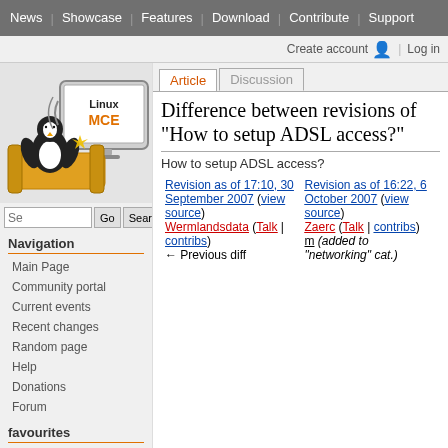News | Showcase | Features | Download | Contribute | Support
Create account  Log in
[Figure (logo): LinuxMCE logo with penguin on couch watching TV]
Article  Discussion
Difference between revisions of "How to setup ADSL access?"
Navigation
Main Page
Community portal
Current events
Recent changes
Random page
Help
Donations
Forum
favourites
Installation
How to setup ADSL access?
|  |  |
| --- | --- |
| Revision as of 17:10, 30 September 2007 (view source)
Wermlandsdata (Talk | contribs)
← Previous diff | Revision as of 16:22, 6 October 2007 (view source)
Zaerc (Talk | contribs)
m (added to "networking" cat.) |